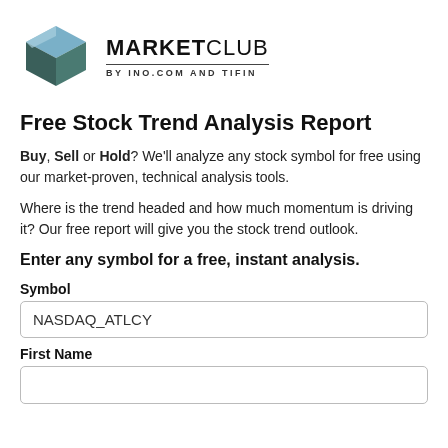[Figure (logo): MarketClub logo: geometric box/cube icon in teal/blue/dark teal colors, next to text 'MARKETCLUB' in bold with 'BY INO.COM AND TIFIN' below a horizontal rule]
Free Stock Trend Analysis Report
Buy, Sell or Hold? We'll analyze any stock symbol for free using our market-proven, technical analysis tools.
Where is the trend headed and how much momentum is driving it? Our free report will give you the stock trend outlook.
Enter any symbol for a free, instant analysis.
Symbol
NASDAQ_ATLCY
First Name